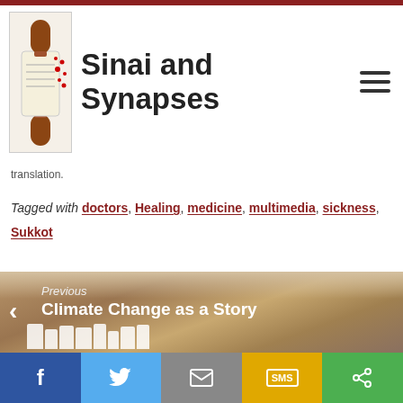[Figure (logo): Sinai and Synapses website header with logo (Torah scroll with sound waves) and site name]
translation.
Tagged with doctors, Healing, medicine, multimedia, sickness, Sukkot
[Figure (photo): Previous post navigation: Climate Change as a Story, with Hollywood sign background photo]
[Figure (photo): Partial next post navigation with colorful image]
[Figure (infographic): Social share bar with Facebook, Twitter, Email, SMS, and Share buttons]